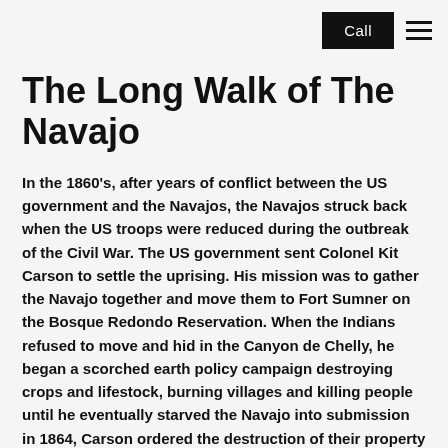Call
The Long Walk of The Navajo
In the 1860's, after years of conflict between the US government and the Navajos, the Navajos struck back when the US troops were reduced during the outbreak of the Civil War. The US government sent Colonel Kit Carson to settle the uprising. His mission was to gather the Navajo together and move them to Fort Sumner on the Bosque Redondo Reservation. When the Indians refused to move and hid in the Canyon de Chelly, he began a scorched earth policy campaign destroying crops and lifestock, burning villages and killing people until he eventually starved the Navajo into submission in 1864, Carson ordered the destruction of their property and organized the Long Walk to the